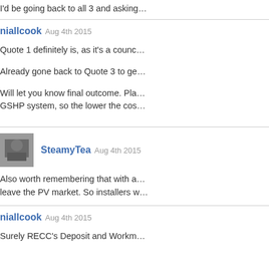I'd be going back to all 3 and asking...
niallcook Aug 4th 2015
Quote 1 definitely is, as it's a counc...
Already gone back to Quote 3 to ge...
Will let you know final outcome. Pla... GSHP system, so the lower the cos...
SteamyTea Aug 4th 2015
Also worth remembering that with a... leave the PV market. So installers w...
niallcook Aug 4th 2015
Surely RECC's Deposit and Workm...